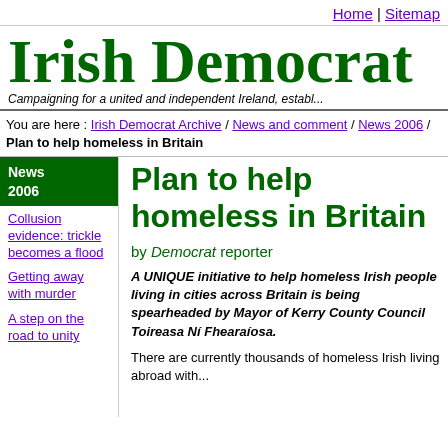Home | Sitemap
Irish Democrat — Campaigning for a united and independent Ireland, establ...
You are here : Irish Democrat Archive / News and comment / News 2006 / Plan to help homeless in Britain
News 2006
Collusion evidence: trickle becomes a flood
Getting away with murder
A step on the road to unity
Plan to help homeless in Britain
by Democrat reporter
A UNIQUE initiative to help homeless Irish people living in cities across Britain is being spearheaded by Mayor of Kerry County Council Toireasa Ní Fhearaíosa.
There are currently thousands of homeless Irish living abroad with...